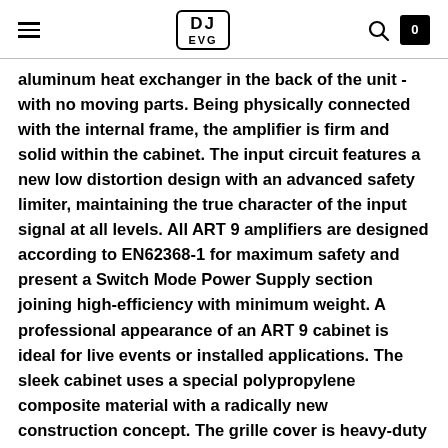DJ EVG [logo]
aluminum heat exchanger in the back of the unit - with no moving parts. Being physically connected with the internal frame, the amplifier is firm and solid within the cabinet. The input circuit features a new low distortion design with an advanced safety limiter, maintaining the true character of the input signal at all levels. All ART 9 amplifiers are designed according to EN62368-1 for maximum safety and present a Switch Mode Power Supply section joining high-efficiency with minimum weight. A professional appearance of an ART 9 cabinet is ideal for live events or installed applications. The sleek cabinet uses a special polypropylene composite material with a radically new construction concept. The grille cover is heavy-duty steel protecting both transducers and vented ports. The purpose-designed M-brace connects the four internal sides of the cabinet and amplifier, preventing any deformation for a completely inert body, with augmented acoustical damping even at maximum